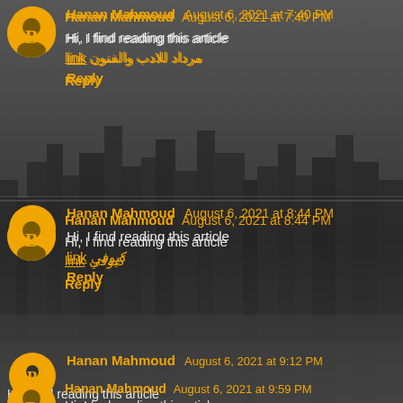Hanan Mahmoud August 6, 2021 at 7:40 PM
Hi, I find reading this article
link مرداد للادب والفنون
Reply
Hanan Mahmoud August 6, 2021 at 8:44 PM
Hi, I find reading this article
link كيوفي
Reply
Hanan Mahmoud August 6, 2021 at 9:12 PM
Hi, I find reading this article
link بورياج
Reply
Hanan Mahmoud August 6, 2021 at 9:59 PM
Hi, I find reading this article